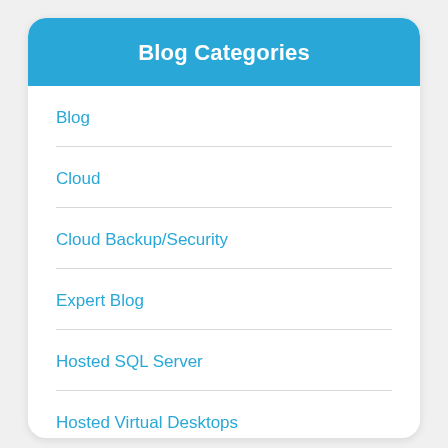Blog Categories
Blog
Cloud
Cloud Backup/Security
Expert Blog
Hosted SQL Server
Hosted Virtual Desktops